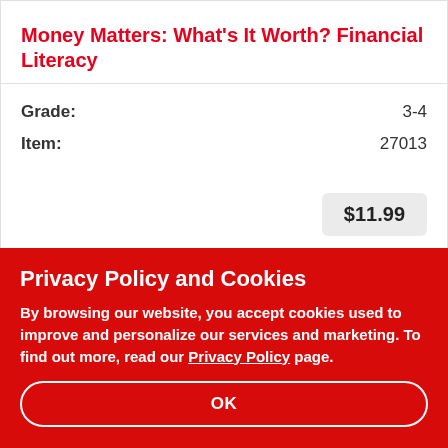Money Matters: What's It Worth? Financial Literacy
Grade: 3-4
Item: 27013
$11.99
Privacy Policy and Cookies
By browsing our website, you accept cookies used to improve and personalize our services and marketing. To find out more, read our Privacy Policy page.
OK